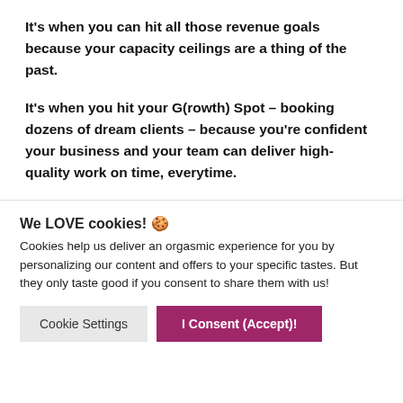It's when you can hit all those revenue goals because your capacity ceilings are a thing of the past.
It's when you hit your G(rowth) Spot – booking dozens of dream clients – because you're confident your business and your team can deliver high-quality work on time, everytime.
We LOVE cookies! 🍪
Cookies help us deliver an orgasmic experience for you by personalizing our content and offers to your specific tastes. But they only taste good if you consent to share them with us!
Cookie Settings | I Consent (Accept)!